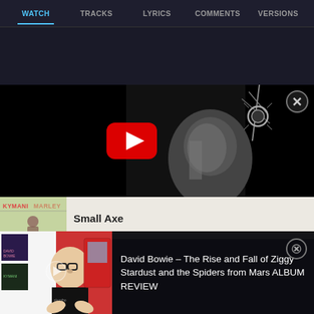WATCH  TRACKS  LYRICS  COMMENTS  VERSIONS
[Figure (screenshot): Video player showing black and white image of a person at a microphone with a YouTube play button overlay]
Small Axe
[Figure (screenshot): Thumbnail of a person reviewing an album with Kymani Marley album art visible]
David Bowie – The Rise and Fall of Ziggy Stardust and the Spiders from Mars ALBUM REVIEW